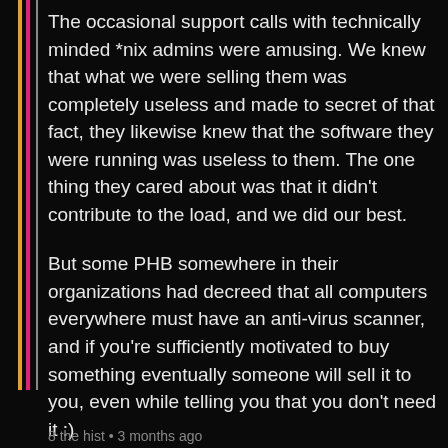The occasional support calls with technically minded *nix admins were amusing. We knew that what we were selling them was completely useless and made to secret of that fact, they likewise knew that the software they were running was useless to them. The one thing they cared about was that it didn't contribute to the load, and we did our best.
But some PHB somewhere in their organizations had decreed that all computers everywhere must have an anti-virus scanner, and if you're sufficiently motivated to buy something eventually someone will sell it to you, even while telling you that you don't need it :)
8 the hist • 3 months ago